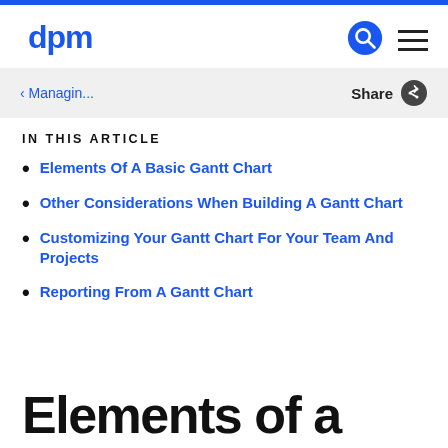dpm
< Managin...   Share
IN THIS ARTICLE
Elements Of A Basic Gantt Chart
Other Considerations When Building A Gantt Chart
Customizing Your Gantt Chart For Your Team And Projects
Reporting From A Gantt Chart
Elements of a Basic